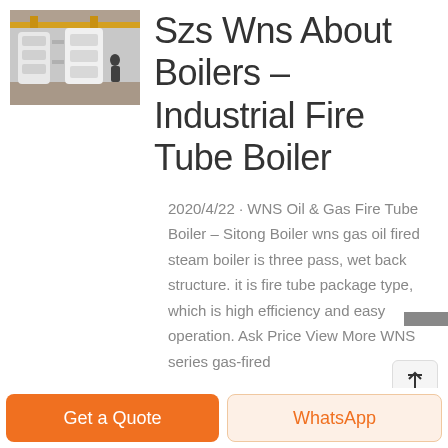[Figure (photo): Industrial boiler facility interior showing yellow crane/machinery overhead and large white cylindrical boiler vessels in a factory setting]
Szs Wns About Boilers – Industrial Fire Tube Boiler
2020/4/22 · WNS Oil & Gas Fire Tube Boiler – Sitong Boiler wns gas oil fired steam boiler is three pass, wet back structure. it is fire tube package type, which is high efficiency and easy operation. Ask Price View More WNS series gas-fired
Get a Quote
WhatsApp